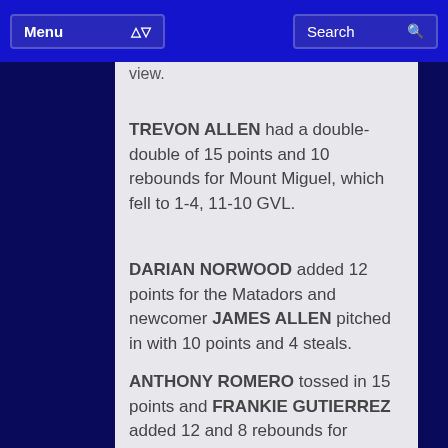Menu | Search
TREVON ALLEN had a double-double of 15 points and 10 rebounds for Mount Miguel, which fell to 1-4, 11-10 GVL.
DARIAN NORWOOD added 12 points for the Matadors and newcomer JAMES ALLEN pitched in with 10 points and 4 steals.
ANTHONY ROMERO tossed in 15 points and FRANKIE GUTIERREZ added 12 and 8 rebounds for Santana.